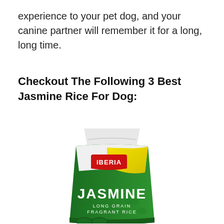experience to your pet dog, and your canine partner will remember it for a long, long time.
Checkout The Following 3 Best Jasmine Rice For Dog:
[Figure (photo): A bag of Iberia Jasmine Long Grain Fragrant Rice — green and white packaging with yellow accent and red Iberia logo banner]